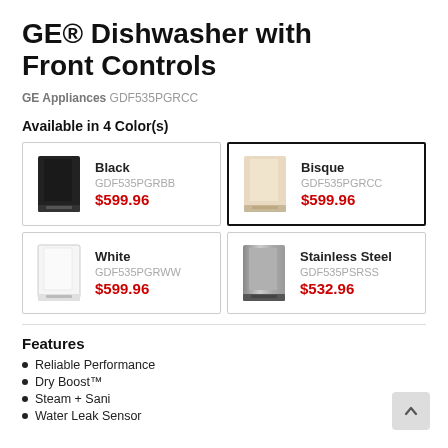GE® Dishwasher with Front Controls
GE Appliances GDF535PGRCC
Available in 4 Color(s)
| Image | Name | SKU | Price |
| --- | --- | --- | --- |
| [black dishwasher] | Black | GDF535PGRBB | $599.96 |
| [bisque dishwasher] | Bisque | GDF535PGRCC | $599.96 |
| [white dishwasher] | White | GDF535PGRWW | $599.96 |
| [stainless steel dishwasher] | Stainless Steel | GDF535PSRSS | $532.96 |
Features
Reliable Performance
Dry Boost™
Steam + Sani
Water Leak Sensor